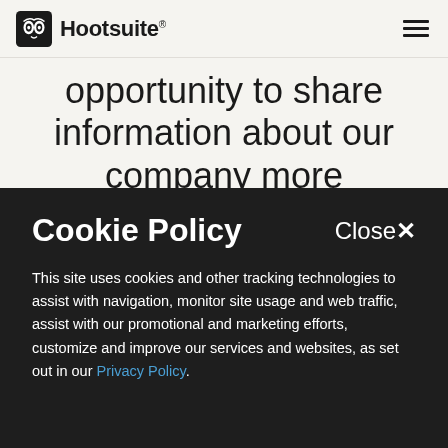Hootsuite
opportunity to share information about our company more effectively
Cookie Policy
This site uses cookies and other tracking technologies to assist with navigation, monitor site usage and web traffic, assist with our promotional and marketing efforts, customize and improve our services and websites, as set out in our Privacy Policy.